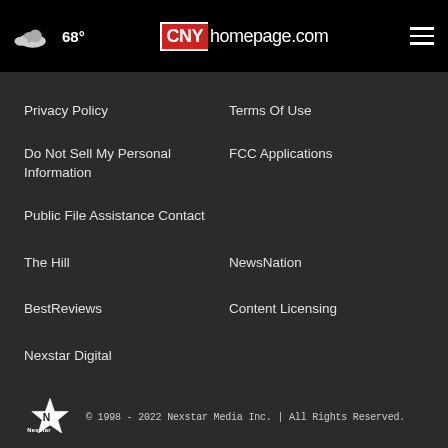68° CNYhomepage.com
Privacy Policy
Terms Of Use
Do Not Sell My Personal Information
FCC Applications
Public File Assistance Contact
The Hill
NewsNation
BestReviews
Content Licensing
Nexstar Digital
© 1998 - 2022 Nexstar Media Inc. | All Rights Reserved.